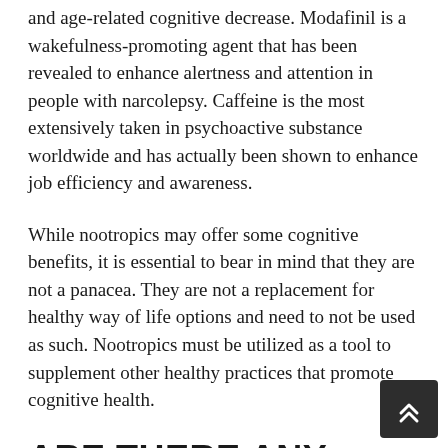and age-related cognitive decrease. Modafinil is a wakefulness-promoting agent that has been revealed to enhance alertness and attention in people with narcolepsy. Caffeine is the most extensively taken in psychoactive substance worldwide and has actually been shown to enhance job efficiency and awareness.
While nootropics may offer some cognitive benefits, it is essential to bear in mind that they are not a panacea. They are not a replacement for healthy way of life options and need to not be used as such. Nootropics must be utilized as a tool to supplement other healthy practices that promote cognitive health.
ARE THERE ANY RISKS ASSOCIATED WITH TAKING NOOTROPICS SUPPLEMENTS ON